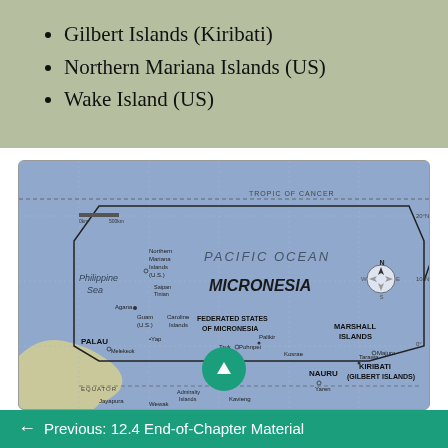Gilbert Islands (Kiribati)
Northern Mariana Islands (US)
Wake Island (US)
[Figure (map): Map of Micronesia region showing Pacific Ocean, Philippine Sea, Palau, Federated States of Micronesia, Marshall Islands, Nauru, Kiribati (Gilbert Islands), Northern Mariana Islands (U.S.), Guam (U.S.), and surrounding islands and countries including Papua New Guinea.]
← Previous: 12.4 End-of-Chapter Material
Next: 13.2 Antarctica →